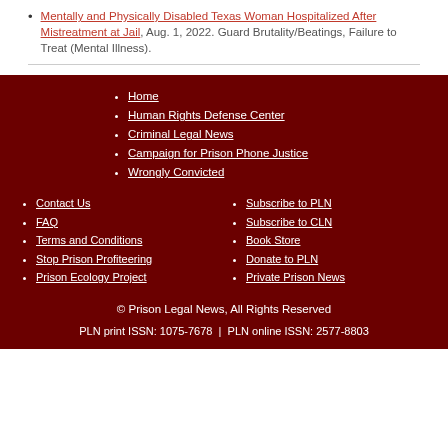Mentally and Physically Disabled Texas Woman Hospitalized After Mistreatment at Jail, Aug. 1, 2022. Guard Brutality/Beatings, Failure to Treat (Mental Illness).
Home | Human Rights Defense Center | Criminal Legal News | Campaign for Prison Phone Justice | Wrongly Convicted | Contact Us | FAQ | Terms and Conditions | Stop Prison Profiteering | Prison Ecology Project | Subscribe to PLN | Subscribe to CLN | Book Store | Donate to PLN | Private Prison News | © Prison Legal News, All Rights Reserved | PLN print ISSN: 1075-7678 | PLN online ISSN: 2577-8803